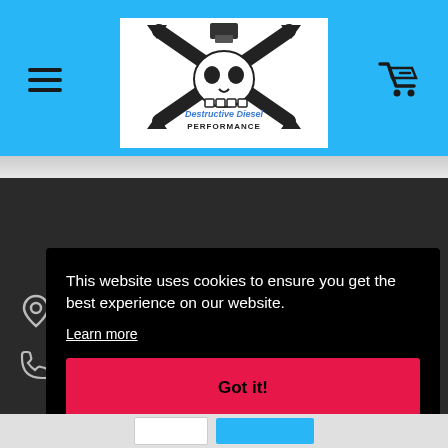[Figure (logo): Destructive Diesel Performance logo with skull and crossed wrenches]
This website uses cookies to ensure you get the best experience on our website.
Learn more
Got it!